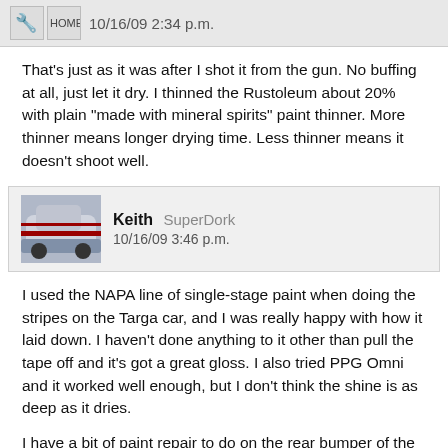10/16/09 2:34 p.m.
That's just as it was after I shot it from the gun. No buffing at all, just let it dry. I thinned the Rustoleum about 20% with plain "made with mineral spirits" paint thinner. More thinner means longer drying time. Less thinner means it doesn't shoot well.
Keith SuperDork 10/16/09 3:46 p.m.
I used the NAPA line of single-stage paint when doing the stripes on the Targa car, and I was really happy with how it laid down. I haven't done anything to it other than pull the tape off and it's got a great gloss. I also tried PPG Omni and it worked well enough, but I don't think the shine is as deep as it dries.
I have a bit of paint repair to do on the rear bumper of the